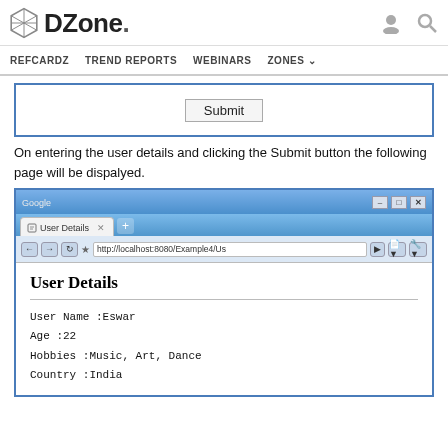DZone. [user icon] [search icon] | REFCARDZ  TREND REPORTS  WEBINARS  ZONES
[Figure (screenshot): Partial web form showing a Submit button inside a blue-bordered box]
On entering the user details and clicking the Submit button the following page will be dispalyed.
[Figure (screenshot): Browser screenshot showing User Details page at http://localhost:8080/Example4/Us with fields: User Name: Eswar, Age: 22, Hobbies: Music, Art, Dance, Country: India]